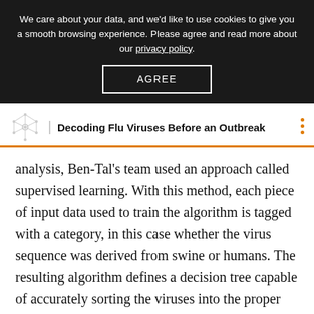We care about your data, and we'd like to use cookies to give you a smooth browsing experience. Please agree and read more about our privacy policy.
AGREE
Decoding Flu Viruses Before an Outbreak
analysis, Ben-Tal's team used an approach called supervised learning. With this method, each piece of input data used to train the algorithm is tagged with a category, in this case whether the virus sequence was derived from swine or humans. The resulting algorithm defines a decision tree capable of accurately sorting the viruses into the proper group — human or swine. The nodes of the tree point to the specific amino acids, or building